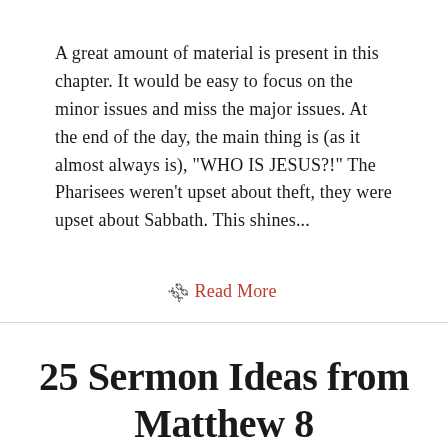A great amount of material is present in this chapter. It would be easy to focus on the minor issues and miss the major issues. At the end of the day, the main thing is (as it almost always is), "WHO IS JESUS?!" The Pharisees weren't upset about theft, they were upset about Sabbath. This shines...
Read More
25 Sermon Ideas from Matthew 8